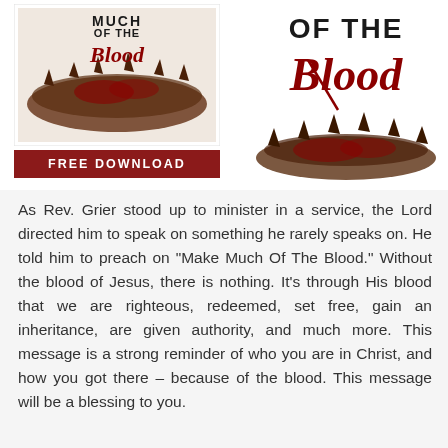[Figure (illustration): Left: small book cover showing 'Make Much Of The Blood' title with crown of thorns image and a FREE DOWNLOAD banner below. Right: large stylized text 'Of The Blood' in dark red with crown of thorns graphic.]
As Rev. Grier stood up to minister in a service, the Lord directed him to speak on something he rarely speaks on. He told him to preach on "Make Much Of The Blood." Without the blood of Jesus, there is nothing. It's through His blood that we are righteous, redeemed, set free, gain an inheritance, are given authority, and much more. This message is a strong reminder of who you are in Christ, and how you got there – because of the blood. This message will be a blessing to you.